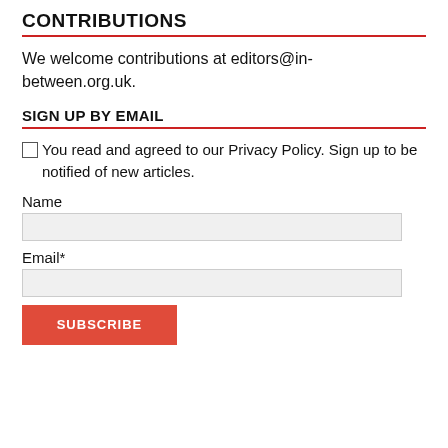CONTRIBUTIONS
We welcome contributions at editors@in-between.org.uk.
SIGN UP BY EMAIL
☐ You read and agreed to our Privacy Policy. Sign up to be notified of new articles.
Name
Email*